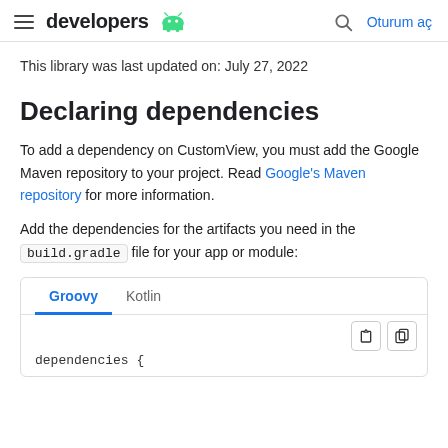developers  [Android logo]   [search icon]  Oturum aç
This library was last updated on: July 27, 2022
Declaring dependencies
To add a dependency on CustomView, you must add the Google Maven repository to your project. Read Google's Maven repository for more information.
Add the dependencies for the artifacts you need in the build.gradle file for your app or module:
[Figure (screenshot): Code block with Groovy and Kotlin tabs. Groovy tab is active (blue underline). Code area shows beginning of 'dependencies {' with theme toggle and copy buttons.]